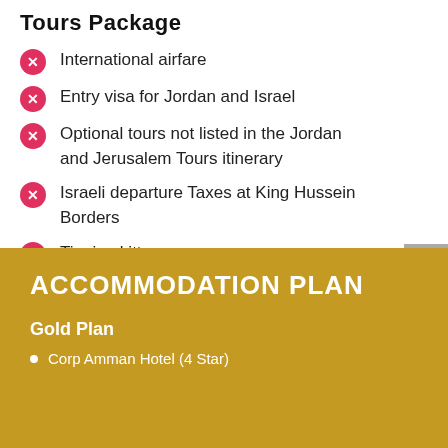Tours Package
International airfare
Entry visa for Jordan and Israel
Optional tours not listed in the Jordan and Jerusalem Tours itinerary
Israeli departure Taxes at King Hussein Borders
Tipping kitty
ACCOMMODATION PLAN
Gold Plan
Corp Amman Hotel (4 Star)